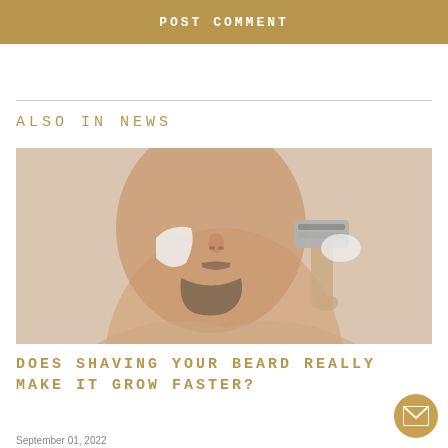POST COMMENT
ALSO IN NEWS
[Figure (photo): A man with a beard holding a razor while shaving cream is applied to his face, on a beige background.]
DOES SHAVING YOUR BEARD REALLY MAKE IT GROW FASTER?
September 01, 2022